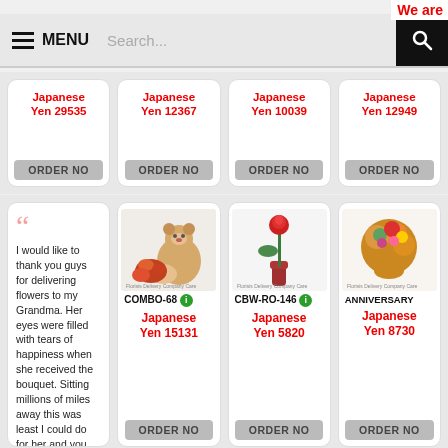We ar...
[Figure (screenshot): Navigation bar with hamburger menu icon, MENU text, search box placeholder, and black search button]
Japanese Yen 29535
ORDER NO
Japanese Yen 12367
ORDER NO
Japanese Yen 10039
ORDER NO
Japanese Yen 12949
ORDER NO
“ I would like to thank you guys for delivering flowers to my Grandma. Her eyes were filled with tears of happiness when she received the bouquet. Sitting millions of miles away this was least I could do for her and you
COMBO-68
Japanese Yen 15131
ORDER NO
CBW-RO-146
Japanese Yen 5820
ORDER NO
ANNIVERSARY
Japanese Yen 8730
ORDER NO